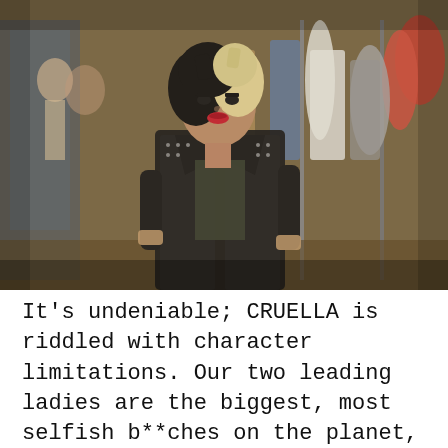[Figure (photo): A woman with black and white hair wearing a black leather jacket stands confidently among racks of colorful vintage clothing in a shop. She has dramatic makeup with red lips. The background shows mannequins and rows of hanging garments.]
It's undeniable; CRUELLA is riddled with character limitations. Our two leading ladies are the biggest, most selfish b**ches on the planet, and all those around them are basically enablers. But Director Craig Gillespie and writers Dana Fox and Tony McNamara have worked hard to nudge them in to the Joker-esque “fun and likeable villain zone”. The wealth of experience Emma Thompson brings to the table makes it an easy task for her; The Baroness steals the show.